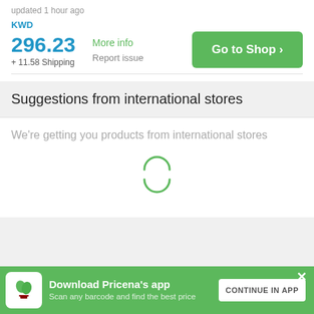updated 1 hour ago
KWD
296.23
+ 11.58 Shipping
More info
Report issue
Go to Shop >
Suggestions from international stores
We're getting you products from international stores
[Figure (other): Loading spinner with two green arcs]
Download Pricena's app
Scan any barcode and find the best price
CONTINUE IN APP